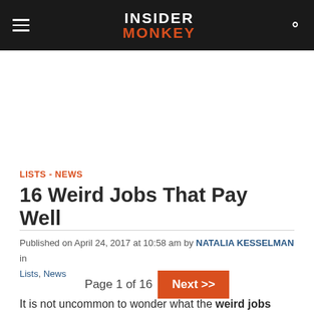INSIDER MONKEY
LISTS - NEWS
16 Weird Jobs That Pay Well
Published on April 24, 2017 at 10:58 am by NATALIA KESSELMAN in Lists, News
Page 1 of 16  Next >>
It is not uncommon to wonder what the weird jobs